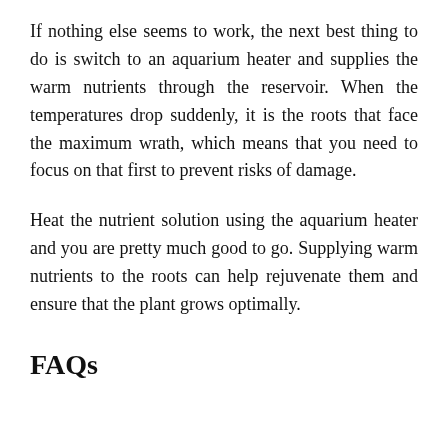If nothing else seems to work, the next best thing to do is switch to an aquarium heater and supplies the warm nutrients through the reservoir. When the temperatures drop suddenly, it is the roots that face the maximum wrath, which means that you need to focus on that first to prevent risks of damage.
Heat the nutrient solution using the aquarium heater and you are pretty much good to go. Supplying warm nutrients to the roots can help rejuvenate them and ensure that the plant grows optimally.
FAQs